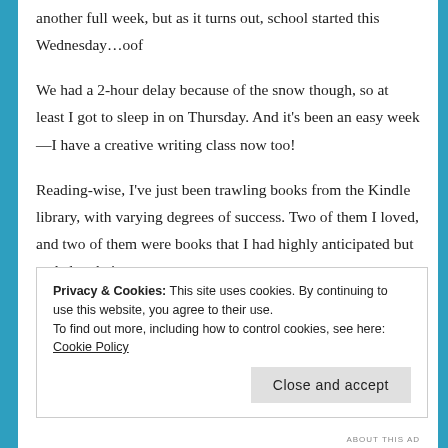another full week, but as it turns out, school started this Wednesday…oof
We had a 2-hour delay because of the snow though, so at least I got to sleep in on Thursday. And it's been an easy week—I have a creative writing class now too!
Reading-wise, I've just been trawling books from the Kindle library, with varying degrees of success. Two of them I loved, and two of them were books that I had highly anticipated but ended up being
Privacy & Cookies: This site uses cookies. By continuing to use this website, you agree to their use.
To find out more, including how to control cookies, see here: Cookie Policy
Close and accept